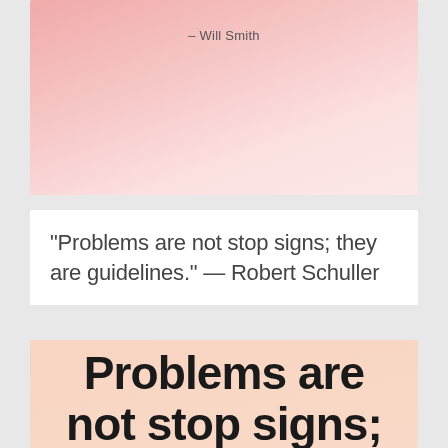[Figure (illustration): Pink gradient card with attribution text '– Will Smith' centered near the top]
“Problems are not stop signs; they are guidelines.” — Robert Schuller
[Figure (illustration): Peach/salmon gradient card with large bold text 'Problems are not stop signs;']